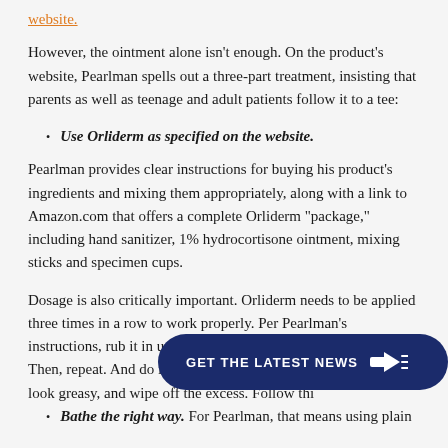website.
However, the ointment alone isn't enough. On the product's website, Pearlman spells out a three-part treatment, insisting that parents as well as teenage and adult patients follow it to a tee:
Use Orliderm as specified on the website.
Pearlman provides clear instructions for buying his product's ingredients and mixing them appropriately, along with a link to Amazon.com that offers a complete Orliderm "package," including hand sanitizer, 1% hydrocortisone ointment, mixing sticks and specimen cups.
Dosage is also critically important. Orliderm needs to be applied three times in a row to work properly. Per Pearlman's instructions, rub it in until it penetrates the skin and disappears. Then, repeat. And do it again a third time, after which it will look greasy, and wipe off the excess. Follow thi
Bathe the right way. For Pearlman, that means using plain